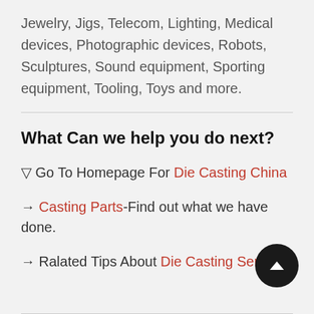Jewelry, Jigs, Telecom, Lighting, Medical devices, Photographic devices, Robots, Sculptures, Sound equipment, Sporting equipment, Tooling, Toys and more.
What Can we help you do next?
▽ Go To Homepage For Die Casting China
→ Casting Parts-Find out what we have done.
→ Ralated Tips About Die Casting Services